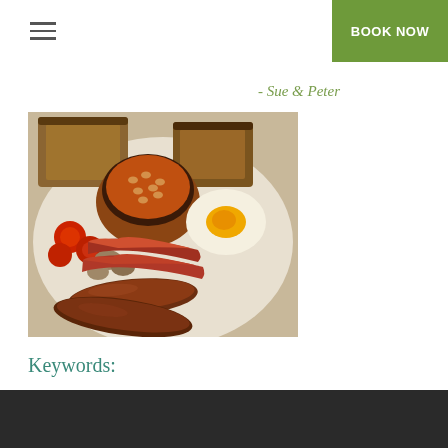BOOK NOW
- Sue & Peter
[Figure (photo): A full English breakfast plate with sausages, bacon, fried egg, baked beans in a ramekin, toast, grilled tomatoes, and mushrooms on a white plate.]
Keywords: